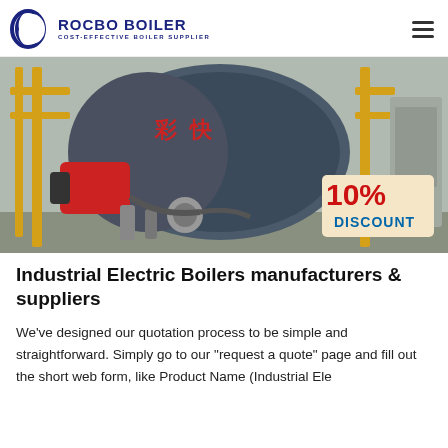[Figure (logo): Rocbo Boiler logo — circular blue crescent arc with text ROCBO BOILER in dark blue bold caps, subtitle COST-EFFECTIVE BOILER SUPPLIER]
[Figure (photo): Industrial boiler facility photo showing large cylindrical boiler with Chinese characters, red burner attachment, yellow metal scaffolding, pipes, and control cabinet. A 10% DISCOUNT badge overlaid in lower right corner.]
Industrial Electric Boilers manufacturers & suppliers
We've designed our quotation process to be simple and straightforward. Simply go to our "request a quote" page and fill out the short web form, like Product Name (Industrial Ele